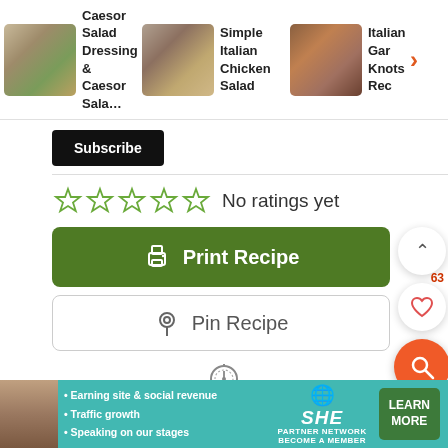[Figure (screenshot): Recipe website screenshot showing carousel with Caesor Salad Dressing, Simple Italian Chicken Salad, and Italian Garlic Knots Recipe items]
Subscribe
No ratings yet
Print Recipe
Pin Recipe
PREP TIME
TOTAL TIME
[Figure (infographic): SHE Partner Network advertisement banner with photo, bullet points about earning site and social revenue, traffic growth, speaking on stages, and Learn More button]